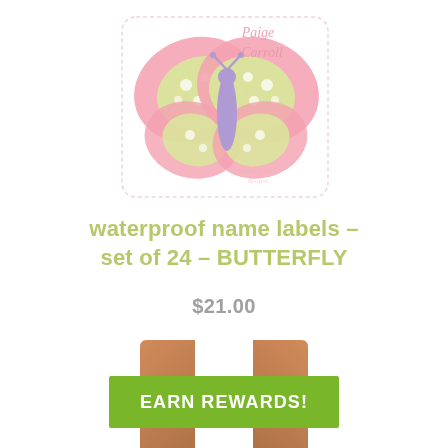[Figure (illustration): A personalized name label product image showing a butterfly sticker with the name 'Paige Carroll' and a Cherry Hill Designs logo watermark. The butterfly has pink wings with green polka-dot sections and a purple body.]
waterproof name labels – set of 24 – BUTTERFLY
$21.00
[Figure (infographic): Earn Rewards! banner button in green, partially visible at bottom of page with phone/mobile device imagery on sides.]